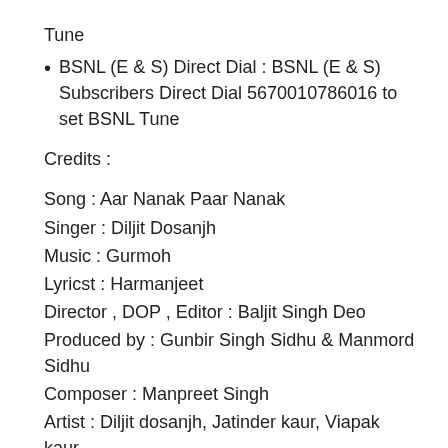Tune
BSNL (E & S) Direct Dial : BSNL (E & S) Subscribers Direct Dial 5670010786016 to set BSNL Tune
Credits :
Song : Aar Nanak Paar Nanak
Singer : Diljit Dosanjh
Music : Gurmoh
Lyricst : Harmanjeet
Director , DOP , Editor : Baljit Singh Deo
Produced by : Gunbir Singh Sidhu & Manmord Sidhu
Composer : Manpreet Singh
Artist : Diljit dosanjh, Jatinder kaur, Viapak kaur,